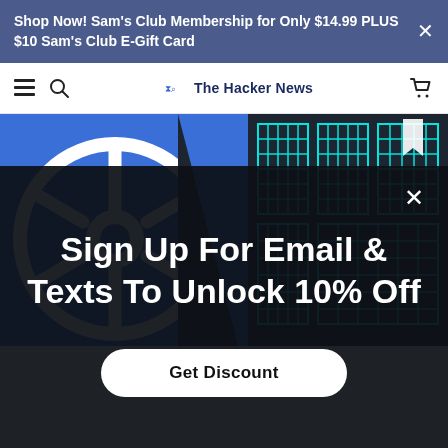Shop Now! Sam's Club Membership for Only $14.99 PLUS $10 Sam's Club E-Gift Card
The Hacker News
[Figure (screenshot): Article thumbnail showing Kubernetes helm wheel logo on blue background on the left, and cyan-colored circuit/grid pattern on dark background on the right, with a bookmark icon]
Sign Up For Email & Texts To Unlock 10% Off
Get Discount